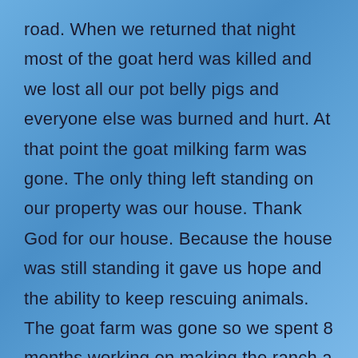road. When we returned that night most of the goat herd was killed and we lost all our pot belly pigs and everyone else was burned and hurt. At that point the goat milking farm was gone. The only thing left standing on our property was our house. Thank God for our house. Because the house was still standing it gave us hope and the ability to keep rescuing animals. The goat farm was gone so we spent 8 months working on making the ranch a nonprofit. Now we have been a nonprofit for 2 years. In one more year we can start asking for grants. We plan on doing wild horse rescues in the future as soon as we can build stalls for them. Right now we